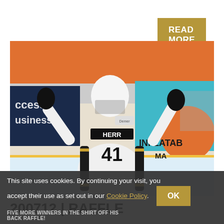READ MORE
[Figure (photo): Hockey player wearing jersey number 41 with name HERR on back, arms raised in celebration on ice rink, with rink-side advertising banners visible including partial text 'cess usiness' and 'INFLATAB' and 'MA']
200712 | RAFFLE
This site uses cookies. By continuing your visit, you accept their use as set out in our Cookie Policy. OK
FIVE MORE WINNERS IN THE SHIRT OFF HIS BACK RAFFLE!